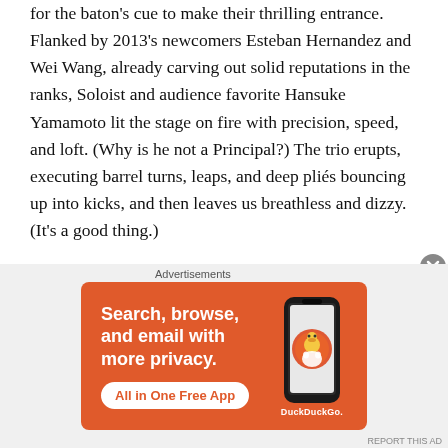for the baton's cue to make their thrilling entrance. Flanked by 2013's newcomers Esteban Hernandez and Wei Wang, already carving out solid reputations in the ranks, Soloist and audience favorite Hansuke Yamamoto lit the stage on fire with precision, speed, and loft. (Why is he not a Principal?) The trio erupts, executing barrel turns, leaps, and deep pliés bouncing up into kicks, and then leaves us breathless and dizzy. (It's a good thing.)
My least favorite of the dances in Act 2 belongs to that of Madame Cirque and her Buffoons, though the San Francisco Ballet students are adorable, as is the dancing
[Figure (screenshot): DuckDuckGo advertisement banner with orange background. Text reads 'Search, browse, and email with more privacy. All in One Free App' with a DuckDuckGo logo and phone image on the right.]